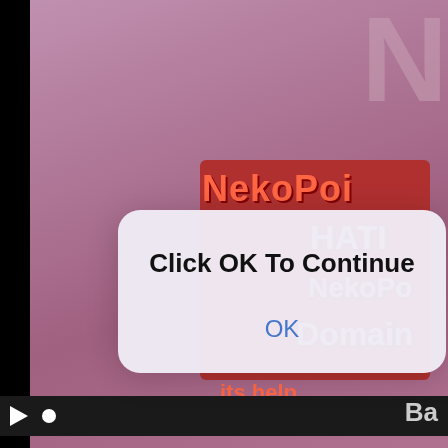[Figure (screenshot): Screenshot of a mobile/browser alert dialog overlaying a video player. The background shows a video with a purple/mauve and red-box 'NekoPoi' branded content. A white rounded-corner alert box is displayed in the center with the message 'Click OK To Continue' and an 'OK' button in blue. The video player has a black control bar at the bottom with a play button and a circle indicator.]